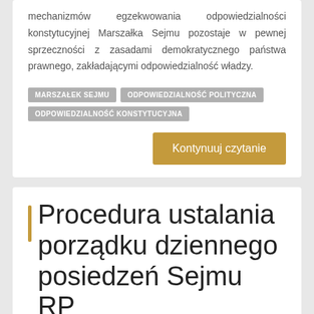mechanizmów egzekwowania odpowiedzialności konstytucyjnej Marszałka Sejmu pozostaje w pewnej sprzeczności z zasadami demokratycznego państwa prawnego, zakładającymi odpowiedzialność władzy.
MARSZAŁEK SEJMU
ODPOWIEDZIALNOŚĆ POLITYCZNA
ODPOWIEDZIALNOŚĆ KONSTYTUCYJNA
Kontynuuj czytanie
Procedura ustalania porządku dziennego posiedzeń Sejmu RP